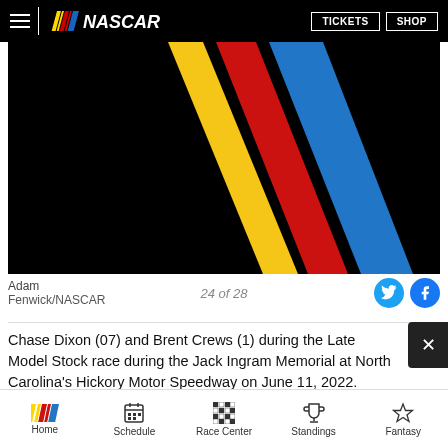NASCAR — TICKETS | SHOP
[Figure (photo): NASCAR logo diagonal color stripes (yellow, red, blue) on black background]
Adam   24 of 28
Fenwick/NASCAR
Chase Dixon (07) and Brent Crews (1) during the Late Model Stock race during the Jack Ingram Memorial at North Carolina's Hickory Motor Speedway on June 11, 2022.
Home | Schedule | Race Center | Standings | Fantasy